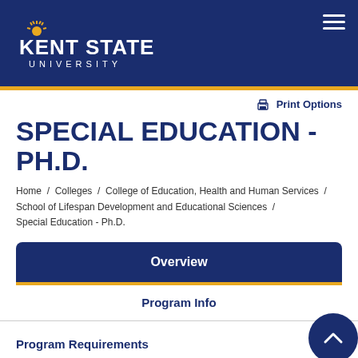[Figure (logo): Kent State University logo - white text with gold sun emblem on dark navy background]
Print Options
SPECIAL EDUCATION - PH.D.
Home / Colleges / College of Education, Health and Human Services / School of Lifespan Development and Educational Sciences / Special Education - Ph.D.
Overview
Program Info
Program Requirements